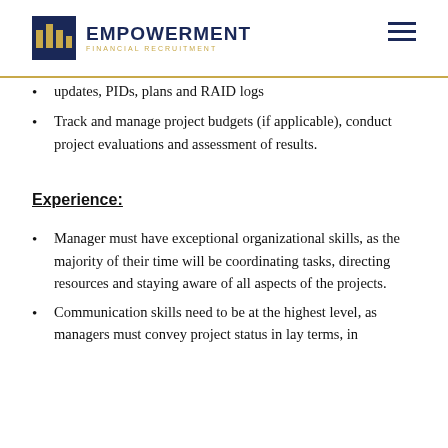EMPOWERMENT FINANCIAL RECRUITMENT
updates, PIDs, plans and RAID logs
Track and manage project budgets (if applicable), conduct project evaluations and assessment of results.
Experience:
Manager must have exceptional organizational skills, as the majority of their time will be coordinating tasks, directing resources and staying aware of all aspects of the projects.
Communication skills need to be at the highest level, as managers must convey project status in lay terms, in